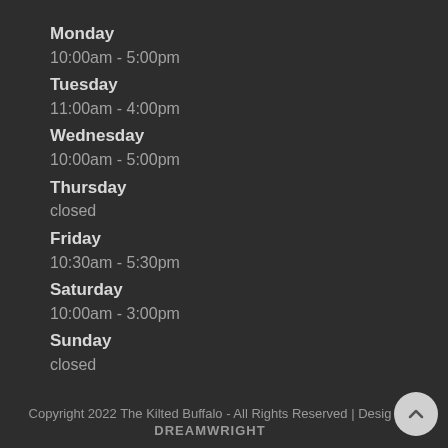Monday
10:00am - 5:00pm
Tuesday
11:00am - 4:00pm
Wednesday
10:00am - 5:00pm
Thursday
closed
Friday
10:30am - 5:30pm
Saturday
10:00am - 3:00pm
Sunday
closed
Copyright 2022 The Kilted Buffalo - All Rights Reserved | Design by DREAMWRIGHT